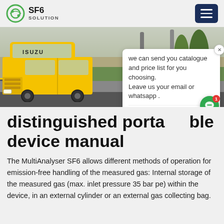SF6 SOLUTION
[Figure (photo): Yellow ISUZU truck parked next to utility poles on a road, with green grass and urban infrastructure in the background. A chat popup overlay is visible on the right side of the image.]
distinguished portable device manual
The MultiAnalyser SF6 allows different methods of operation for emission-free handling of the measured gas: Internal storage of the measured gas (max. inlet pressure 35 bar pe) within the device, in an external cylinder or an external gas collecting bag.